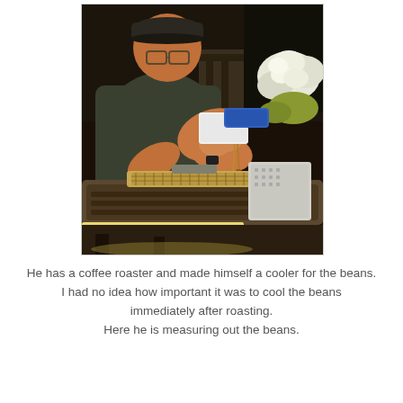[Figure (photo): A man wearing a cap and glasses leaning over a coffee roaster machine, measuring or pouring coffee beans. Flowers visible in the background.]
He has a coffee roaster and made himself a cooler for the beans. I had no idea how important it was to cool the beans immediately after roasting. Here he is measuring out the beans.